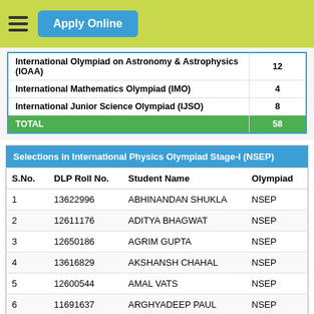Apply Online
|  |  |
| --- | --- |
| International Olympiad on Astronomy & Astrophysics (IOAA) | 12 |
| International Mathematics Olympiad (IMO) | 4 |
| International Junior Science Olympiad (IJSO) | 8 |
| TOTAL | 58 |
| Selections in International Physics Olympiad Stage-I (NSEP) |  |  |  |
| --- | --- | --- | --- |
| S.No. | DLP Roll No. | Student Name | Olympiad |
| 1 | 13622996 | ABHINANDAN SHUKLA | NSEP |
| 2 | 12611176 | ADITYA BHAGWAT | NSEP |
| 3 | 12650186 | AGRIM GUPTA | NSEP |
| 4 | 13616829 | AKSHANSH CHAHAL | NSEP |
| 5 | 12600544 | AMAL VATS | NSEP |
| 6 | 11691637 | ARGHYADEEP PAUL | NSEP |
| 7 | 13605549 | DEEP NIRANJANKUMAR MODH | NSEP |
| 8 | 11692750 | HIRAY SHRUTI SHIVRAM | NSEP |
| 9 | 12650241 | KISHALAY RAJ | NSEP |